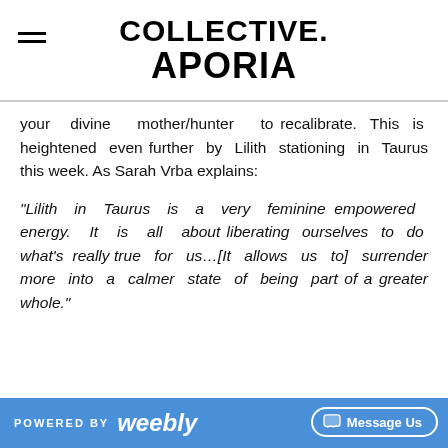COLLECTIVE. APORIA
your divine mother/hunter to recalibrate. This is heightened even further by Lilith stationing in Taurus this week. As Sarah Vrba explains:
“Lilith in Taurus is a very feminine empowered energy. It is all about liberating ourselves to do what’s really true for us…[It allows us to] surrender more into a calmer state of being part of a greater whole.”
POWERED BY weebly  Message Us